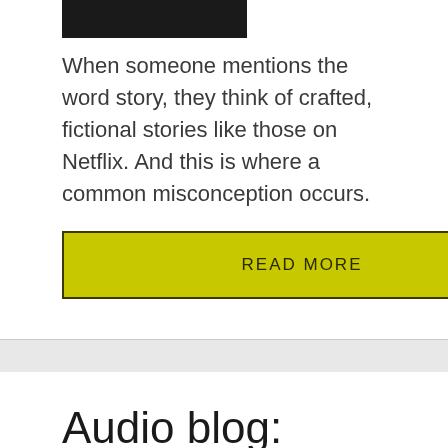[Figure (photo): Dark cropped photo of a person, shown partially at top of card]
When someone mentions the word story, they think of crafted, fictional stories like those on Netflix. And this is where a common misconception occurs.
READ MORE
Audio blog: Using story to move from